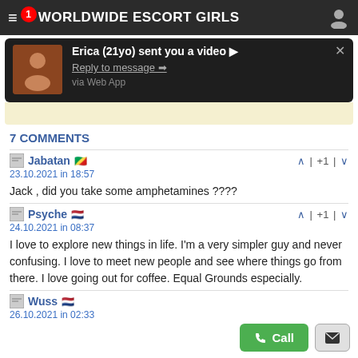WORLDWIDE ESCORT GIRLS
[Figure (screenshot): Notification popup: Erica (21yo) sent you a video, Reply to message, via Web App]
7 COMMENTS
Jabatan 🇨🇬
23.10.2021 in 18:57
Jack , did you take some amphetamines ????
Psyche 🇳🇱
24.10.2021 in 08:37
I love to explore new things in life. I'm a very simpler guy and never confusing. I love to meet new people and see where things go from there. I love going out for coffee. Equal Grounds especially.
Wuss 🇳🇱
26.10.2021 in 02:33